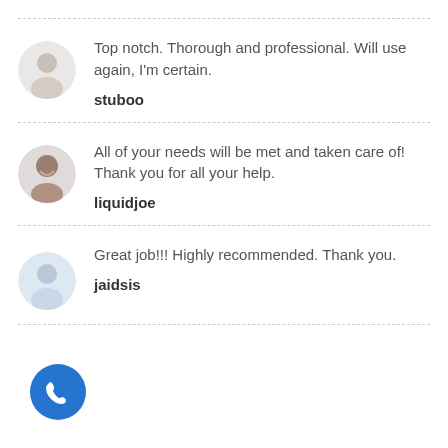Top notch. Thorough and professional. Will use again, I'm certain.
stuboo
All of your needs will be met and taken care of! Thank you for all your help.
liquidjoe
Great job!!! Highly recommended. Thank you.
jaidsis